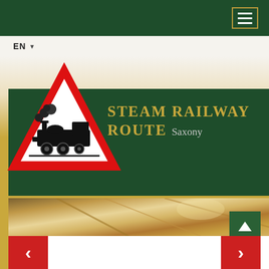[Figure (screenshot): Dark green navigation bar with hamburger menu button outlined in gold]
EN
[Figure (logo): Steam railway warning sign: red triangle with white interior containing a black steam locomotive silhouette, overlapping a dark green banner reading STEAM RAILWAY ROUTE Saxony]
STEAM RAILWAY ROUTE Saxony
[Figure (photo): Interior ceiling detail photo with warm golden tones]
[Figure (infographic): Navigation controls: scroll-to-top green button with up arrow, red left arrow button and red right arrow button]